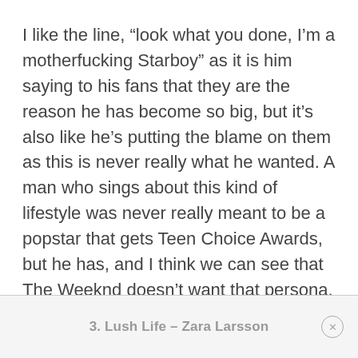I like the line, “look what you done, I’m a motherfucking Starboy” as it is him saying to his fans that they are the reason he has become so big, but it’s also like he’s putting the blame on them as this is never really what he wanted. A man who sings about this kind of lifestyle was never really meant to be a popstar that gets Teen Choice Awards, but he has, and I think we can see that The Weeknd doesn’t want that persona.
3. Lush Life – Zara Larsson